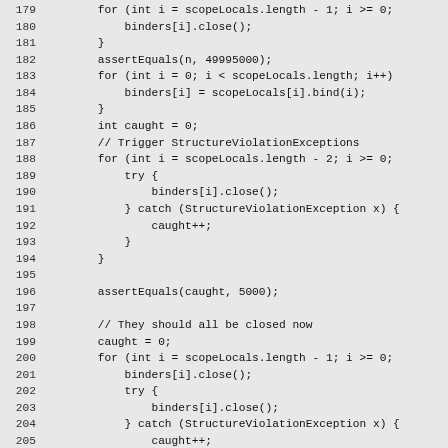Code listing lines 179-208: Java code with loop, assertEquals, try/catch for StructureViolationException handling